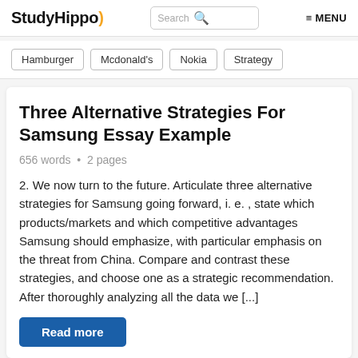StudyHippo
Hamburger
Mcdonald's
Nokia
Strategy
Three Alternative Strategies For Samsung Essay Example
656 words • 2 pages
2. We now turn to the future. Articulate three alternative strategies for Samsung going forward, i. e. , state which products/markets and which competitive advantages Samsung should emphasize, with particular emphasis on the threat from China. Compare and contrast these strategies, and choose one as a strategic recommendation. After thoroughly analyzing all the data we [...]
Read more